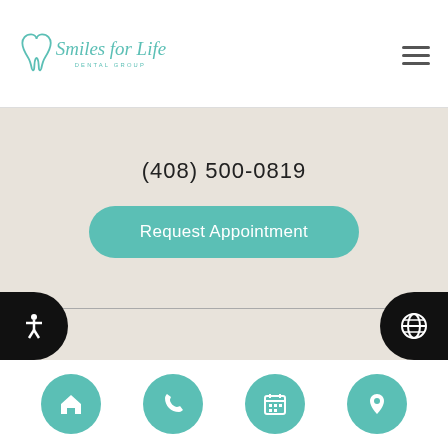Smiles for Life Dental Group
(408) 500-0819
Request Appointment
Comments or Suggestions?
Contact Us